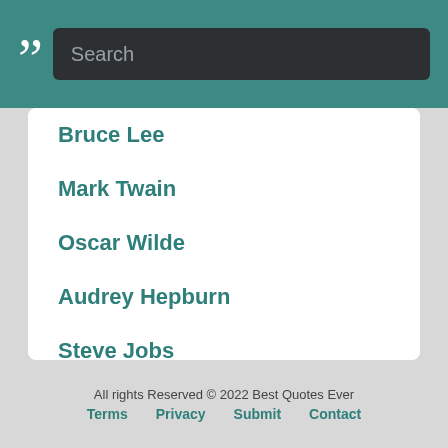[Figure (screenshot): Website header with quotation mark logo and search bar on teal background]
Bruce Lee
Mark Twain
Oscar Wilde
Audrey Hepburn
Steve Jobs
Eminem
John Green
Mahatma Gandhi
John Lennon
William Shakespeare
All rights Reserved © 2022 Best Quotes Ever
Terms   Privacy   Submit   Contact